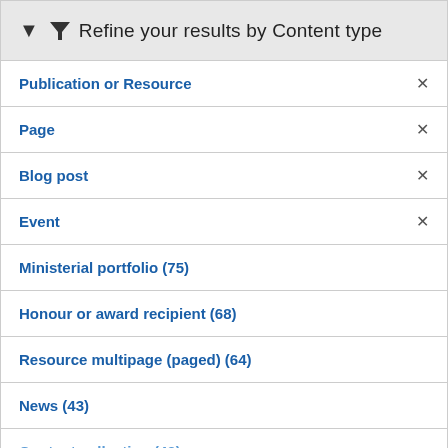Refine your results by Content type
Publication or Resource ×
Page ×
Blog post ×
Event ×
Ministerial portfolio (75)
Honour or award recipient (68)
Resource multipage (paged) (64)
News (43)
Content collection (43)